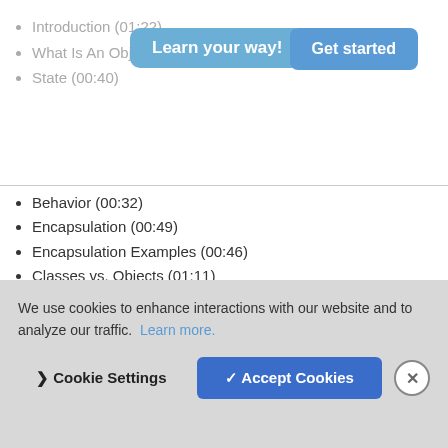Introduction (01:22)
What Is An Object? (01:09)
State (00:40)
[Figure (other): Learn your way! promotional banner with Get started button]
Behavior (00:32)
Encapsulation (00:49)
Encapsulation Examples (00:46)
Classes vs. Objects (01:11)
Inheritance (01:59)
Demo: Inheritance (15:18)
Polymorphism (02:20)
Demo: Polymorphism (05:24)
Interfaces (03:19)
We use cookies to enhance interactions with our website and to analyze our traffic. Learn more.
> Cookie Settings   ✓ Accept Cookies   ✗